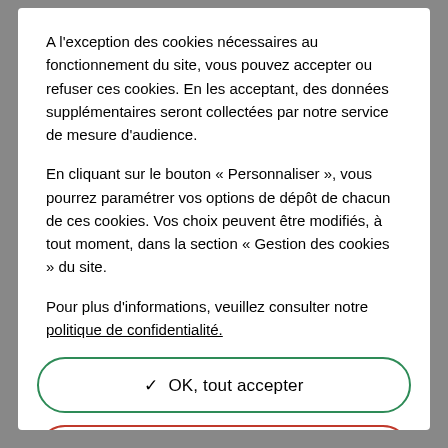A l'exception des cookies nécessaires au fonctionnement du site, vous pouvez accepter ou refuser ces cookies. En les acceptant, des données supplémentaires seront collectées par notre service de mesure d'audience.
En cliquant sur le bouton « Personnaliser », vous pourrez paramétrer vos options de dépôt de chacun de ces cookies. Vos choix peuvent être modifiés, à tout moment, dans la section « Gestion des cookies » du site.
Pour plus d'informations, veuillez consulter notre politique de confidentialité.
✓ OK, tout accepter
✗ Interdire tous les cookies
> Personnaliser